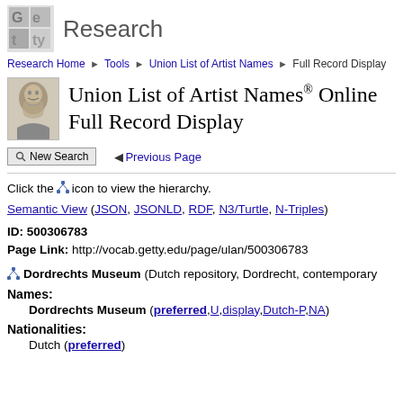Research
Research Home ▶ Tools ▶ Union List of Artist Names ▶ Full Record Display
Union List of Artist Names® Online Full Record Display
New Search  ◀ Previous Page
Click the icon to view the hierarchy.
Semantic View (JSON, JSONLD, RDF, N3/Turtle, N-Triples)
ID: 500306783
Page Link: http://vocab.getty.edu/page/ulan/500306783
Dordrechts Museum (Dutch repository, Dordrecht, contemporary
Names:
    Dordrechts Museum (preferred,U,display,Dutch-P,NA)
Nationalities:
    Dutch (preferred)